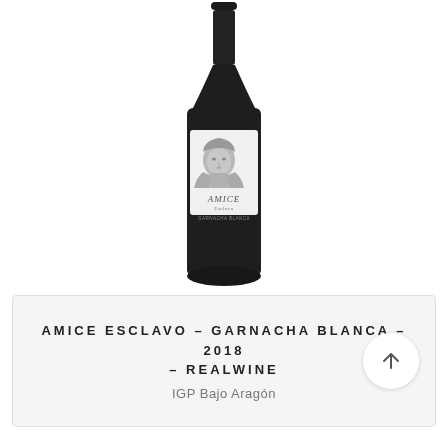[Figure (photo): Wine bottle with a dark glass, white label featuring a classical face illustration (bust/statue), with text 'AMICE', 'Esclavo', and 'GARNACHA BLANCA' on the label.]
AMICE ESCLAVO – GARNACHA BLANCA – 2018 – REALWINE
IGP Bajo Aragón